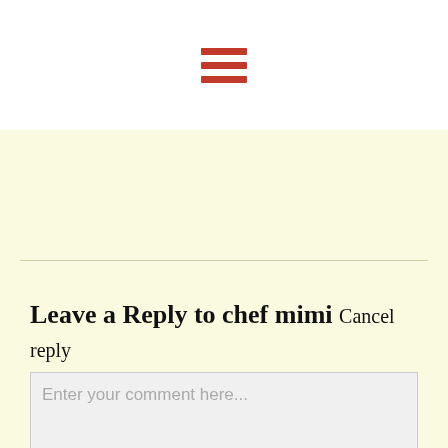[Figure (other): Hamburger menu icon with three horizontal red bars]
Leave a Reply to chef mimi Cancel reply
Enter your comment here...
[Figure (other): Scroll-to-top button: dark grey circle with white upward chevron arrow]